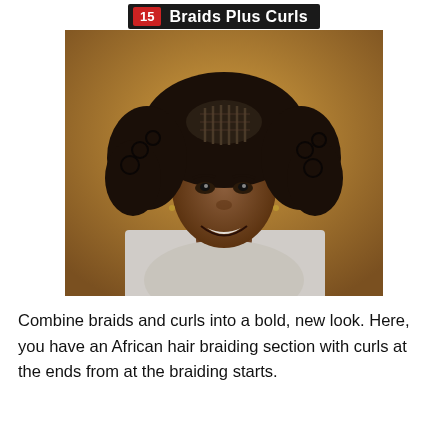15 Braids Plus Curls
[Figure (photo): Woman smiling with African hair braiding section on top and curly hair at the sides and ends, warm brown background]
Combine braids and curls into a bold, new look. Here, you have an African hair braiding section with curls at the ends from at the braiding starts.